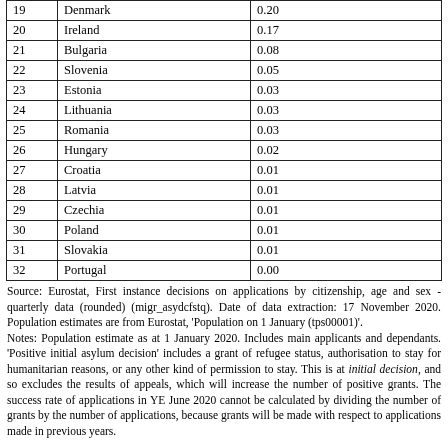|  | Country | Value |
| --- | --- | --- |
| 19 | Denmark | 0.20 |
| 20 | Ireland | 0.17 |
| 21 | Bulgaria | 0.08 |
| 22 | Slovenia | 0.05 |
| 23 | Estonia | 0.03 |
| 24 | Lithuania | 0.03 |
| 25 | Romania | 0.03 |
| 26 | Hungary | 0.02 |
| 27 | Croatia | 0.01 |
| 28 | Latvia | 0.01 |
| 29 | Czechia | 0.01 |
| 30 | Poland | 0.01 |
| 31 | Slovakia | 0.01 |
| 32 | Portugal | 0.00 |
Source: Eurostat, First instance decisions on applications by citizenship, age and sex - quarterly data (rounded) (migr_asydcfstq). Date of data extraction: 17 November 2020. Population estimates are from Eurostat, 'Population on 1 January (tps00001)'.
Notes: Population estimate as at 1 January 2020. Includes main applicants and dependants. 'Positive initial asylum decision' includes a grant of refugee status, authorisation to stay for humanitarian reasons, or any other kind of permission to stay. This is at initial decision, and so excludes the results of appeals, which will increase the number of positive grants. The success rate of applications in YE June 2020 cannot be calculated by dividing the number of grants by the number of applications, because grants will be made with respect to applications made in previous years.